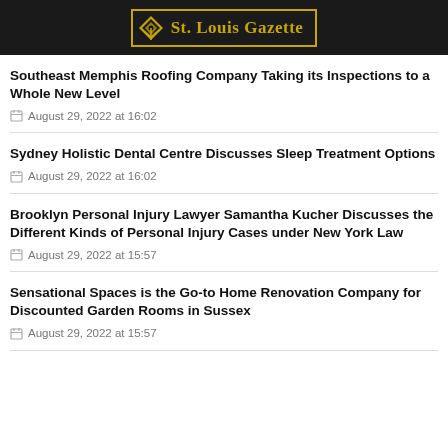St. Louis Gazette
Southeast Memphis Roofing Company Taking its Inspections to a Whole New Level
August 29, 2022 at 16:02
Sydney Holistic Dental Centre Discusses Sleep Treatment Options
August 29, 2022 at 16:02
Brooklyn Personal Injury Lawyer Samantha Kucher Discusses the Different Kinds of Personal Injury Cases under New York Law
August 29, 2022 at 15:57
Sensational Spaces is the Go-to Home Renovation Company for Discounted Garden Rooms in Sussex
August 29, 2022 at 15:57